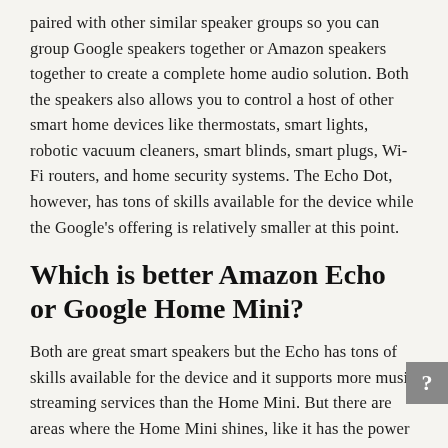paired with other similar speaker groups so you can group Google speakers together or Amazon speakers together to create a complete home audio solution. Both the speakers also allows you to control a host of other smart home devices like thermostats, smart lights, robotic vacuum cleaners, smart blinds, smart plugs, Wi-Fi routers, and home security systems. The Echo Dot, however, has tons of skills available for the device while the Google's offering is relatively smaller at this point.
Which is better Amazon Echo or Google Home Mini?
Both are great smart speakers but the Echo has tons of skills available for the device and it supports more music streaming services than the Home Mini. But there are areas where the Home Mini shines, like it has the power of the Google ecosystem, which is a great advantage.
Is Echo Dot and Google Nest same?
Both the Echo Dot and Nest are two of the most preferred...